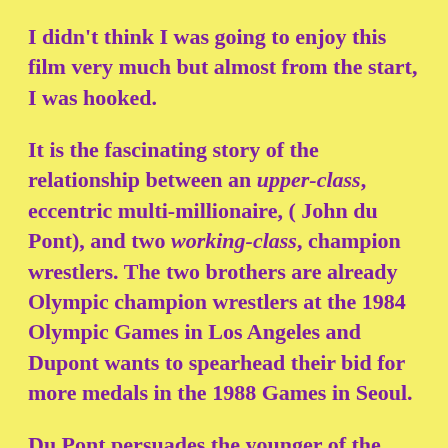I didn't think I was going to enjoy this film very much but almost from the start, I was hooked.
It is the fascinating story of the relationship between an upper-class, eccentric multi-millionaire, ( John du Pont), and two working-class, champion wrestlers. The two brothers are already Olympic champion wrestlers at the 1984 Olympic Games in Los Angeles and Dupont wants to spearhead their bid for more medals in the 1988 Games in Seoul.
Du Pont persuades the younger of the two brothers (Mark Schultz) to join his wrestling training team, Foxcatcher, and to go and live in